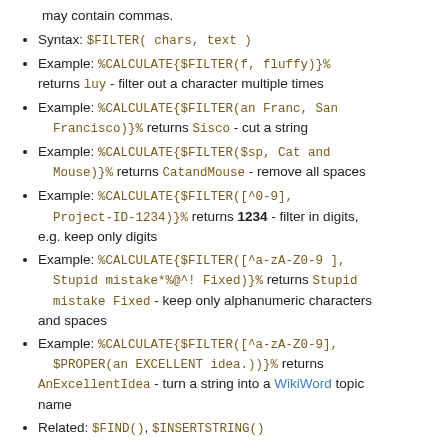may contain commas.
Syntax: $FILTER( chars, text )
Example: %CALCULATE{$FILTER(f, fluffy)}% returns luy - filter out a character multiple times
Example: %CALCULATE{$FILTER(an Franc, San Francisco)}% returns Sisco - cut a string
Example: %CALCULATE{$FILTER($sp, Cat and Mouse)}% returns CatandMouse - remove all spaces
Example: %CALCULATE{$FILTER([^0-9], Project-ID-1234)}% returns 1234 - filter in digits, e.g. keep only digits
Example: %CALCULATE{$FILTER([^a-zA-Z0-9 ], Stupid mistake*%@^! Fixed)}% returns Stupid mistake Fixed - keep only alphanumeric characters and spaces
Example: %CALCULATE{$FILTER([^a-zA-Z0-9], $PROPER(an EXCELLENT idea.))}% returns AnExcellentIdea - turn a string into a WikiWord topic name
Related: $FIND(), $INSERTSTRING()